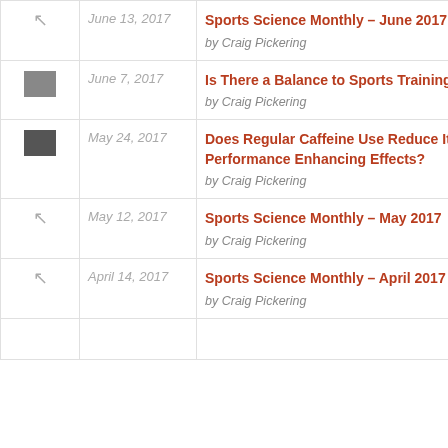|  | Date | Title / Author |
| --- | --- | --- |
| – | June 13, 2017 | Sports Science Monthly – June 2017
by Craig Pickering |
| [img] | June 7, 2017 | Is There a Balance to Sports Training?
by Craig Pickering |
| [img] | May 24, 2017 | Does Regular Caffeine Use Reduce Its Performance Enhancing Effects?
by Craig Pickering |
| – | May 12, 2017 | Sports Science Monthly – May 2017
by Craig Pickering |
| – | April 14, 2017 | Sports Science Monthly – April 2017
by Craig Pickering |